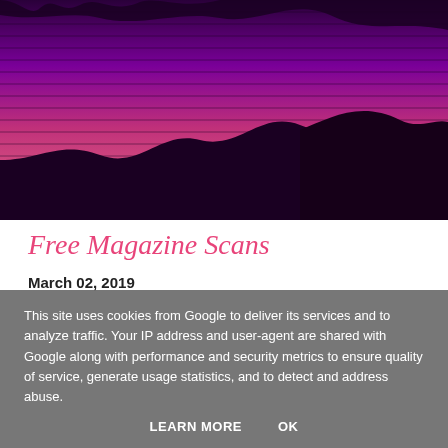[Figure (illustration): A retro synthwave-style landscape illustration with horizontal scan lines over a purple-to-pink-to-dark gradient sky, dark silhouetted mountain shapes at the bottom, and dark tree silhouettes at the top.]
Free Magazine Scans
March 02, 2019
This site uses cookies from Google to deliver its services and to analyze traffic. Your IP address and user-agent are shared with Google along with performance and security metrics to ensure quality of service, generate usage statistics, and to detect and address abuse.
LEARN MORE   OK